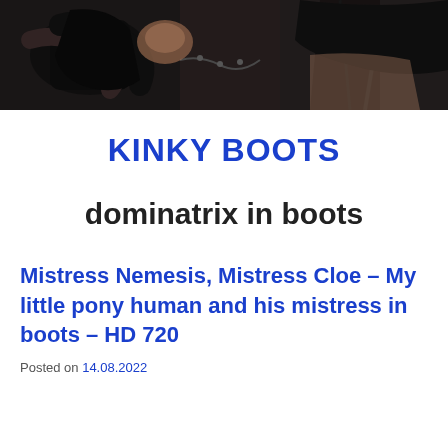[Figure (photo): Dark photograph banner showing a person in leather/fetish context, cropped at top of page]
KINKY BOOTS
dominatrix in boots
Mistress Nemesis, Mistress Cloe – My little pony human and his mistress in boots – HD 720
Posted on 14.08.2022